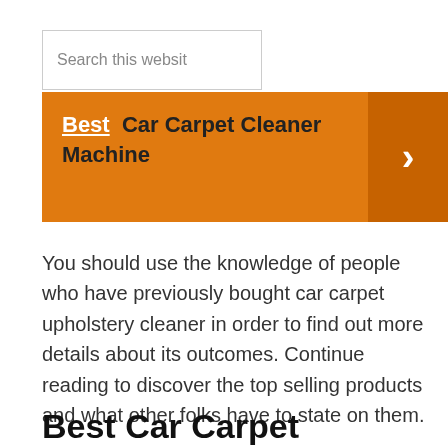[Figure (screenshot): Search box with placeholder text 'Search this website']
Best Car Carpet Cleaner Machine
You should use the knowledge of people who have previously bought car carpet upholstery cleaner in order to find out more details about its outcomes. Continue reading to discover the top selling products and what other folks have to state on them.
Best Car Carpet Upholstery